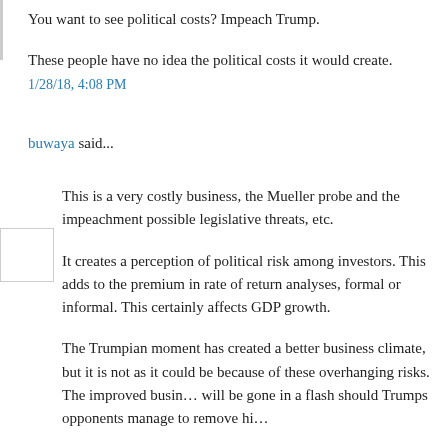You want to see political costs? Impeach Trump.
These people have no idea the political costs it would create.
1/28/18, 4:08 PM
buwaya said...
This is a very costly business, the Mueller probe and the impeachment possible legislative threats, etc.
It creates a perception of political risk among investors. This adds to the premium in rate of return analyses, formal or informal. This certainly affects GDP growth.
The Trumpian moment has created a better business climate, but it is not as it could be because of these overhanging risks. The improved business will be gone in a flash should Trumps opponents manage to remove him.
The other factor is the public hysteria the MSM and allies are always fomenting, a good bit of the US economy is suppressed because of widespread personal anxiety.